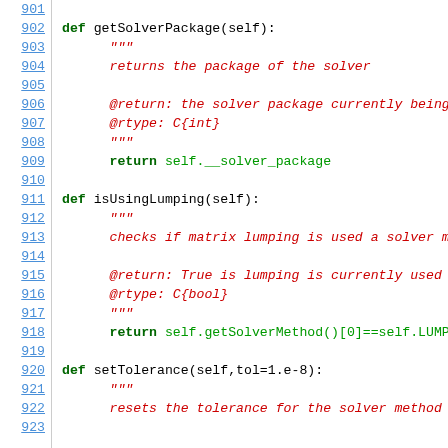[Figure (screenshot): Python source code listing with line numbers 901-923, showing methods getSolverPackage, isUsingLumping, and setTolerance with docstrings and return statements.]